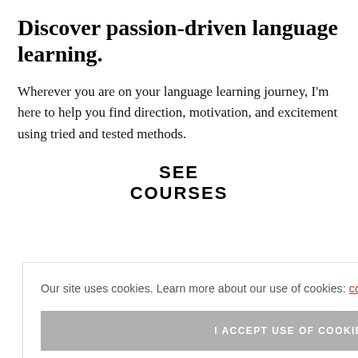Discover passion-driven language learning.
Wherever you are on your language learning journey, I'm here to help you find direction, motivation, and excitement using tried and tested methods.
SEE COURSES
Our site uses cookies. Learn more about our use of cookies: cookie policy
I ACCEPT USE OF COOKIES
TIPS I ONLY CESS TO MY